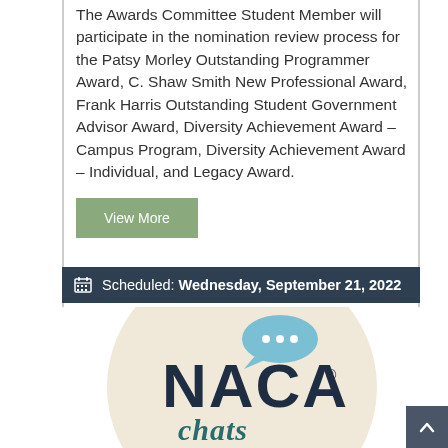The Awards Committee Student Member will participate in the nomination review process for the Patsy Morley Outstanding Programmer Award, C. Shaw Smith New Professional Award, Frank Harris Outstanding Student Government Advisor Award, Diversity Achievement Award – Campus Program, Diversity Achievement Award – Individual, and Legacy Award.
View More
Scheduled: Wednesday, September 21, 2022
[Figure (logo): NACA Chats logo — a beige circle containing the word NACA in dark navy large letters with a registered trademark symbol, a light blue speech bubble with three dots above, and the word 'chats' in teal/dark teal script below.]